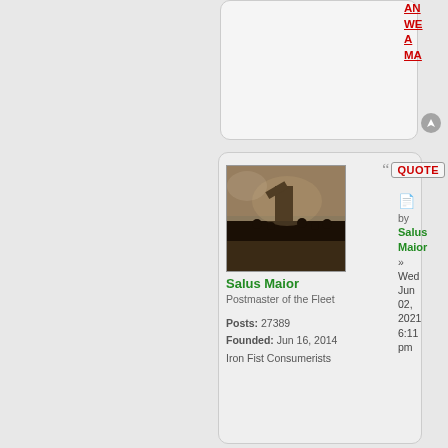AN WE A MA
[Figure (other): Navigation/scroll icon circle button]
[Figure (photo): Historical painting of a battle scene with a figure raising arms amid soldiers]
Salus Maior
Postmaster of the Fleet
Posts: 27389
Founded: Jun 16, 2014
Iron Fist Consumerists
QUOTE
by Salus Maior » Wed Jun 02, 2021 6:11 pm